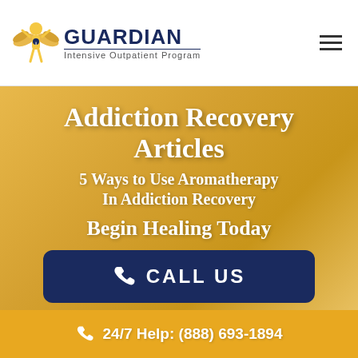[Figure (logo): Guardian Intensive Outpatient Program logo with winged figure icon and text]
Addiction Recovery Articles
5 Ways to Use Aromatherapy In Addiction Recovery
Begin Healing Today
CALL US
24/7 Help: (888) 693-1894